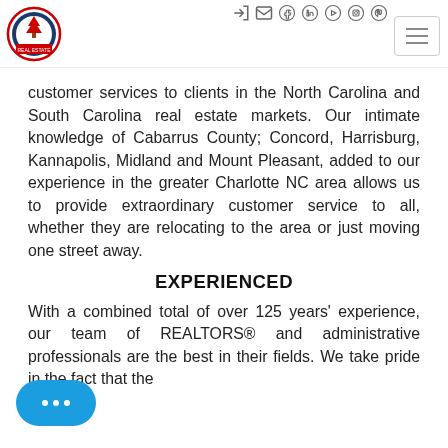[Figure (logo): Community Real Estate circular logo with red and blue colors and a tree icon]
[Figure (other): Navigation bar with social media icons (login, email, facebook, linkedin, youtube, instagram, pinterest) and hamburger menu button]
customer services to clients in the North Carolina and South Carolina real estate markets. Our intimate knowledge of Cabarrus County; Concord, Harrisburg, Kannapolis, Midland and Mount Pleasant, added to our experience in the greater Charlotte NC area allows us to provide extraordinary customer service to all, whether they are relocating to the area or just moving one street away.
EXPERIENCED
With a combined total of over 125 years' experience, our team of REALTORS® and administrative professionals are the best in their fields. We take pride in the fact that the